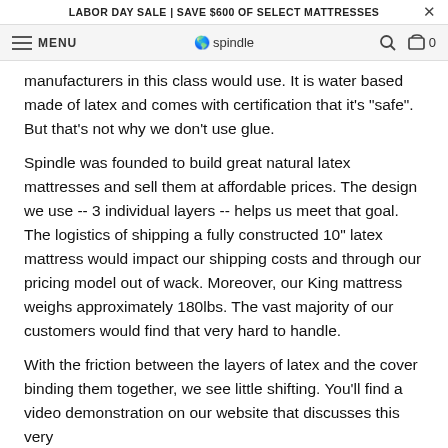LABOR DAY SALE | SAVE $600 OF SELECT MATTRESSES
MENU  spindle  [search] [cart] 0
manufacturers in this class would use. It is water based made of latex and comes with certification that it's "safe". But that's not why we don't use glue.
Spindle was founded to build great natural latex mattresses and sell them at affordable prices. The design we use -- 3 individual layers -- helps us meet that goal. The logistics of shipping a fully constructed 10" latex mattress would impact our shipping costs and through our pricing model out of wack. Moreover, our King mattress weighs approximately 180lbs. The vast majority of our customers would find that very hard to handle.
With the friction between the layers of latex and the cover binding them together, we see little shifting. You'll find a video demonstration on our website that discusses this very